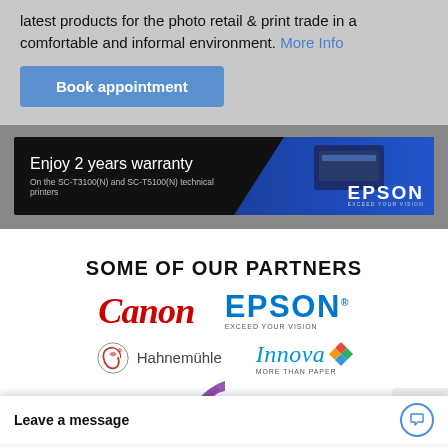latest products for the photo retail & print trade in a comfortable and informal environment. More Info
Book appointment
[Figure (illustration): Epson banner ad: 'Enjoy 2 years warranty' on SC-T3100(N) and SC-T5100(N) technical printers, with blue diagonal stripe and Epson logo on right]
SOME OF OUR PARTNERS
[Figure (logo): Canon logo - red italic serif text]
[Figure (logo): Epson logo with tagline EXCEED YOUR VISION]
[Figure (logo): Hahnemühle logo with swirl icon]
[Figure (logo): Innova MORE THAN PAPER logo with colorful diamond shapes]
Leave a message